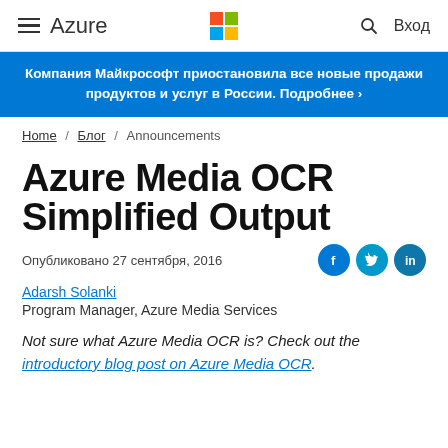≡  Azure  [Microsoft Logo]  🔍  Вход
Компания Майкрософт приостановила все новые продажи продуктов и услуг в России. Подробнее ›
Home / Блог / Announcements
Azure Media OCR Simplified Output
Опубликовано 27 сентября, 2016
Adarsh Solanki
Program Manager, Azure Media Services
Not sure what Azure Media OCR is? Check out the introductory blog post on Azure Media OCR.